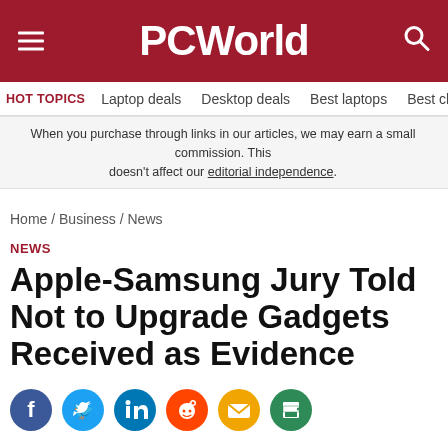PCWorld
HOT TOPICS  Laptop deals  Desktop deals  Best laptops  Best ch
When you purchase through links in our articles, we may earn a small commission. This doesn't affect our editorial independence.
Home / Business / News
NEWS
Apple-Samsung Jury Told Not to Upgrade Gadgets Received as Evidence
[Figure (infographic): Social sharing icons row: Facebook, Twitter, LinkedIn, Reddit, Email, Print]